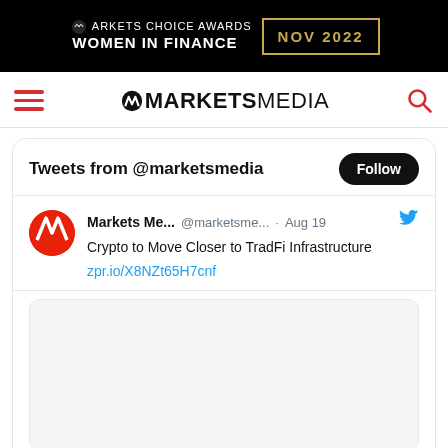[Figure (logo): Markets Choice Awards Women in Finance NOV 2022 banner with black background and gold date box]
MARKETS MEDIA navigation header with hamburger menu and search icon
Tweets from @marketsmedia
Markets Me... @marketsme... · Aug 19  Crypto to Move Closer to TradFi Infrastructure zpr.io/X8NZt65H7cnf